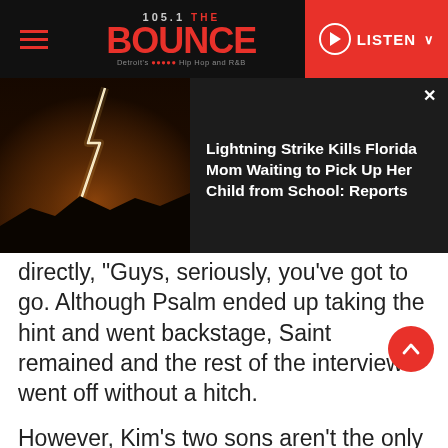105.1 THE BOUNCE — Detroit's Hip Hop and R&B
[Figure (screenshot): News overlay banner showing a lightning strike photo over a dark sky with the headline: Lightning Strike Kills Florida Mom Waiting to Pick Up Her Child from School: Reports]
directly, "Guys, seriously, you've got to go. Although Psalm ended up taking the hint and went backstage, Saint remained and the rest of the interview went off without a hitch.
However, Kim's two sons aren't the only ones that like having their voices heard. As Kim revealed, North is quite the talented performer. "She raps, she sings. She loves it," Kim said of North. Referring to the hit song